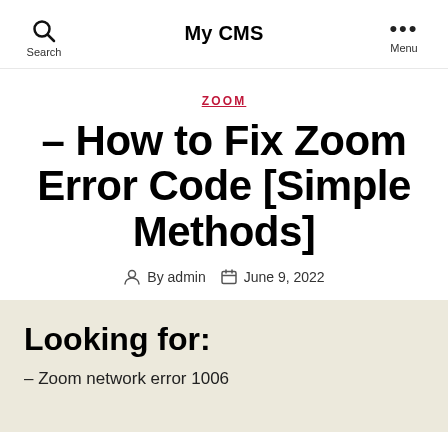My CMS
ZOOM
– How to Fix Zoom Error Code [Simple Methods]
By admin   June 9, 2022
Looking for:
– Zoom network error 1006